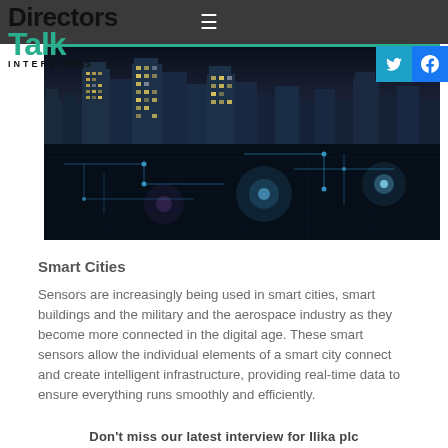Directors Talk Interviews
[Figure (photo): Night cityscape with glowing smart city circuit overlay, showing illuminated skyscrapers reflected in water with digital/blue circuit board patterns superimposed]
Smart Cities
Sensors are increasingly being used in smart cities, smart buildings and the military and the aerospace industry as they become more connected in the digital age. These smart sensors allow the individual elements of a smart city connect and create intelligent infrastructure, providing real-time data to ensure everything runs smoothly and efficiently.
Don't miss our latest interview for Ilika plc